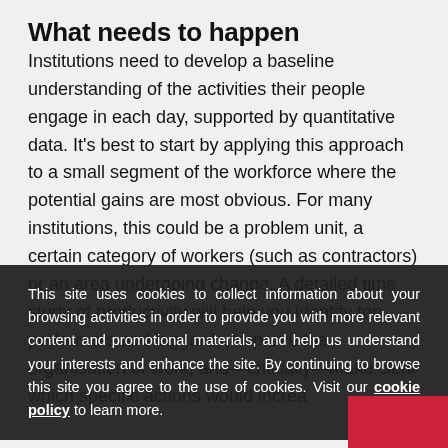What needs to happen
Institutions need to develop a baseline understanding of the activities their people engage in each day, supported by quantitative data. It’s best to start by applying this approach to a small segment of the workforce where the potential gains are most obvious. For many institutions, this could be a problem unit, a certain category of workers (such as contractors) or an area undergoing change. A detailed time study of productivity will help you identify top performers and laggards, improve the organisation of work, and—critically—make clear which specific actions would increase productivity.
This site uses cookies to collect information about your browsing activities in order to provide you with more relevant content and promotional materials, and help us understand your interests and enhance the site. By continuing to browse this site you agree to the use of cookies. Visit our cookie policy to learn more.